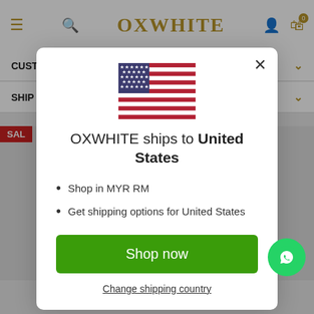OXWHITE
CUST
SHIP
[Figure (screenshot): US flag icon in modal dialog]
OXWHITE ships to United States
Shop in MYR RM
Get shipping options for United States
Shop now
Change shipping country
Red - RM29.00
ADD TO CART